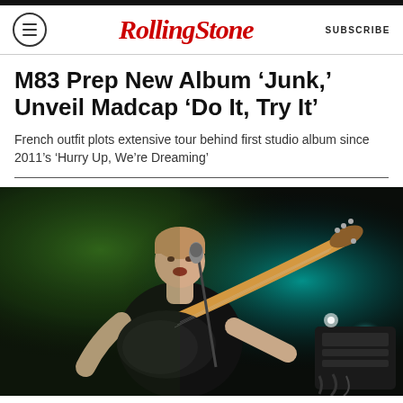RollingStone | SUBSCRIBE
M83 Prep New Album ‘Junk,’ Unveil Madcap ‘Do It, Try It’
French outfit plots extensive tour behind first studio album since 2011’s ‘Hurry Up, We’re Dreaming’
[Figure (photo): A musician performing on stage, playing an electric guitar and singing into a microphone. He is wearing a black t-shirt. The stage is lit with green and teal/cyan lighting. Equipment and cables are visible in the background.]